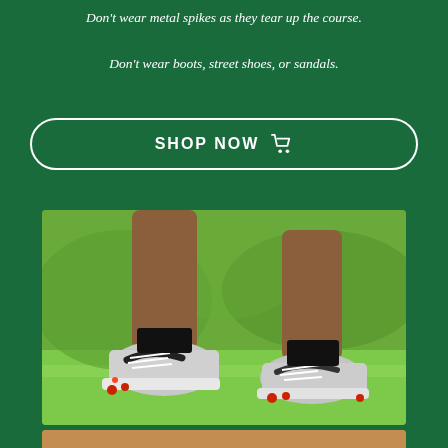Don't wear metal spikes as they tear up the course.
Don't wear boots, street shoes, or sandals.
SHOP NOW
[Figure (photo): Close-up photo of a golfer's legs wearing Nike golf shoes with spikes on a green golf course lawn]
[Figure (photo): Partial view of another photo at the bottom of the page, showing legs/lower body on the golf course]